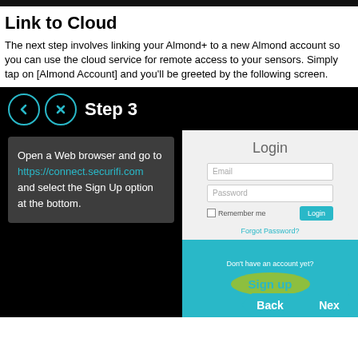Link to Cloud
The next step involves linking your Almond+ to a new Almond account so you can use the cloud service for remote access to your sensors. Simply tap on [Almond Account] and you'll be greeted by the following screen.
[Figure (screenshot): Screenshot showing Step 3 interface with a dark background. Left side shows an instruction box: 'Open a Web browser and go to https://connect.securifi.com and select the Sign Up option at the bottom.' Right side shows a Login screen with Email and Password fields, Remember me checkbox, Login button, Forgot Password link, and a cyan Sign up button at the bottom. Navigation Back and Next buttons appear at the bottom right.]